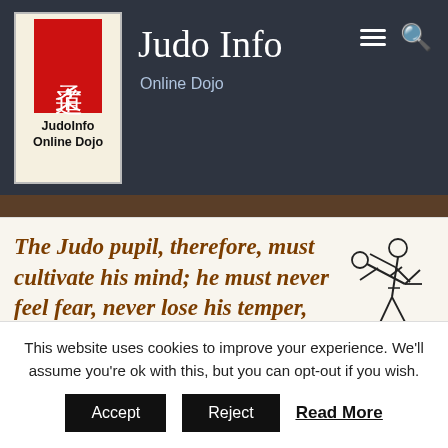Judo Info — Online Dojo
[Figure (logo): JudoInfo Online Dojo logo: red rectangle with Japanese kanji characters for 'judo' (柔道) on a cream background with bold text 'JudoInfo Online Dojo']
Judo Info
Online Dojo
The Judo pupil, therefore, must cultivate his mind; he must never feel fear, never lose his temper, never be off his guard; but he must be cool and calm, though not absent-minded; he must act as quick as thought, according to circumstances. He must
[Figure (illustration): Black and white line drawing of two judo practitioners in a throwing/grappling position]
This website uses cookies to improve your experience. We'll assume you're ok with this, but you can opt-out if you wish.
Accept   Reject   Read More